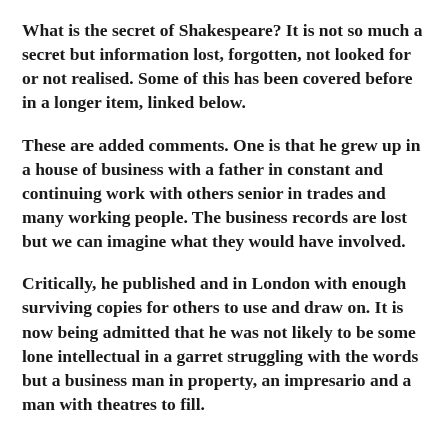What is the secret of Shakespeare?  It is not so much a secret  but information lost, forgotten, not looked for or not realised.  Some of this has been covered before in a longer item, linked below.
These are added comments.  One is that he grew up in a house of business with a father in constant and continuing work with others senior in trades and many working people.  The business records are lost but we can imagine what they would have involved.
Critically, he published and in London with enough surviving copies for others to use and draw on.  It is now being admitted that he was not likely to be some lone intellectual in a garret struggling with the words but a business man in property, an impresario and a man with theatres to fill.